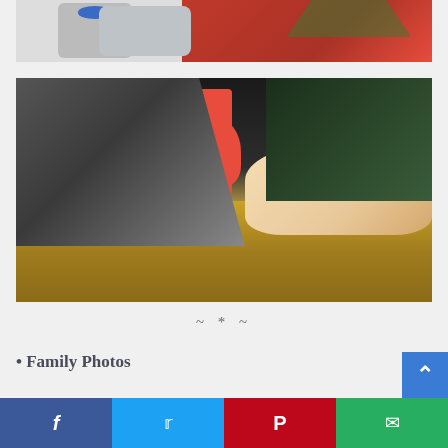[Figure (photo): Partial view of a Christmas scene with red fabric and a toy/doll with blue eyes, top portion cropped]
[Figure (photo): A young girl with red hair accessories leaning over and kissing a baby doll or infant on a bed of hay/straw, black and white photo with red color accents]
~ * ~
• Family Photos
Social share bar: Facebook, Twitter, Pinterest, Email